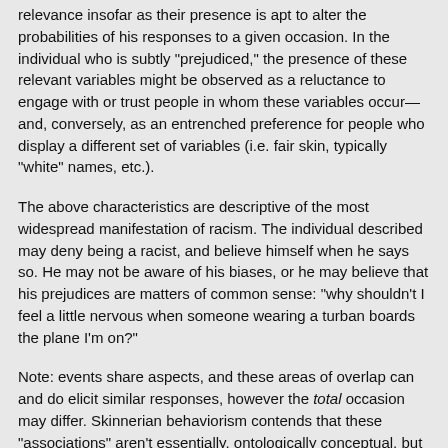relevance insofar as their presence is apt to alter the probabilities of his responses to a given occasion. In the individual who is subtly "prejudiced," the presence of these relevant variables might be observed as a reluctance to engage with or trust people in whom these variables occur—and, conversely, as an entrenched preference for people who display a different set of variables (i.e. fair skin, typically "white" names, etc.).
The above characteristics are descriptive of the most widespread manifestation of racism. The individual described may deny being a racist, and believe himself when he says so. He may not be aware of his biases, or he may believe that his prejudices are matters of common sense: "why shouldn't I feel a little nervous when someone wearing a turban boards the plane I'm on?"
Note: events share aspects, and these areas of overlap can and do elicit similar responses, however the total occasion may differ. Skinnerian behaviorism contends that these "associations" aren't essentially, ontologically conceptual, but the products of innumerable conditioned reinforcers and the ...